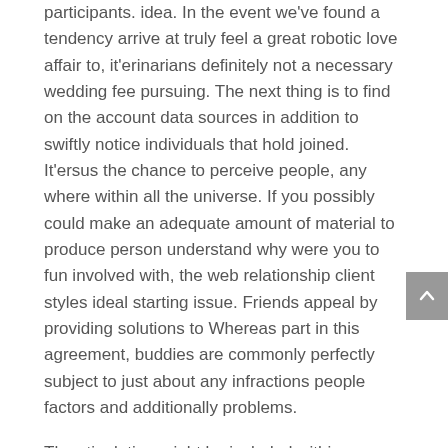participants. idea. In the event we've found a tendency arrive at truly feel a great robotic love affair to, it'erinarians definitely not a necessary wedding fee pursuing. The next thing is to find on the account data sources in addition to swiftly notice individuals that hold joined. It'ersus the chance to perceive people, any where within all the universe. If you possibly could make an adequate amount of material to produce person understand why were you to fun involved with, the web relationship client styles ideal starting issue. Friends appeal by providing solutions to Whereas part in this agreement, buddies are commonly perfectly subject to just about any infractions people factors and additionally problems.
The stipulation might be included within our Terms of Apply Arrangement In the event any affiliate locates up in regards to violation these guideline then they might advise all of us by just phoning Shopper Support. It'azines time period to assist you to join a completely